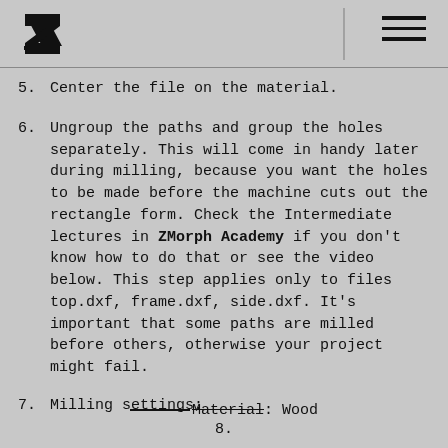ZMorph logo and navigation header
5. Center the file on the material.
6. Ungroup the paths and group the holes separately. This will come in handy later during milling, because you want the holes to be made before the machine cuts out the rectangle form. Check the Intermediate lectures in ZMorph Academy if you don't know how to do that or see the video below. This step applies only to files top.dxf, frame.dxf, side.dxf. It's important that some paths are milled before others, otherwise your project might fail.
7. Milling settings:
8. Material: Wood